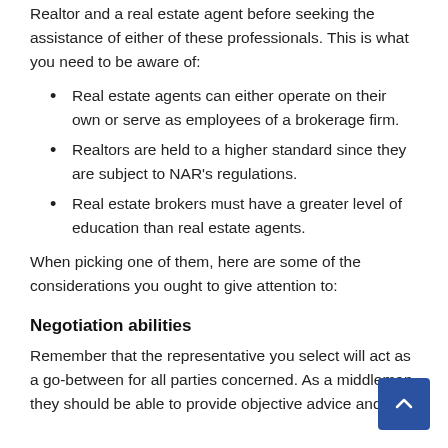Realtor and a real estate agent before seeking the assistance of either of these professionals. This is what you need to be aware of:
Real estate agents can either operate on their own or serve as employees of a brokerage firm.
Realtors are held to a higher standard since they are subject to NAR's regulations.
Real estate brokers must have a greater level of education than real estate agents.
When picking one of them, here are some of the considerations you ought to give attention to:
Negotiation abilities
Remember that the representative you select will act as a go-between for all parties concerned. As a middleman, they should be able to provide objective advice and